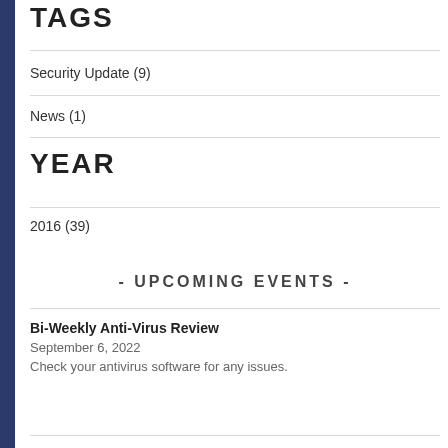TAGS
Security Update (9)
News (1)
YEAR
2016 (39)
- UPCOMING EVENTS -
Bi-Weekly Anti-Virus Review
September 6, 2022
Check your antivirus software for any issues.